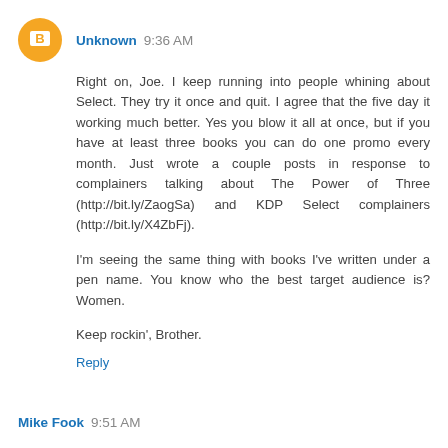Unknown 9:36 AM
Right on, Joe. I keep running into people whining about Select. They try it once and quit. I agree that the five day it working much better. Yes you blow it all at once, but if you have at least three books you can do one promo every month. Just wrote a couple posts in response to complainers talking about The Power of Three (http://bit.ly/ZaogSa) and KDP Select complainers (http://bit.ly/X4ZbFj).
I'm seeing the same thing with books I've written under a pen name. You know who the best target audience is? Women.
Keep rockin', Brother.
Reply
Mike Fook 9:51 AM